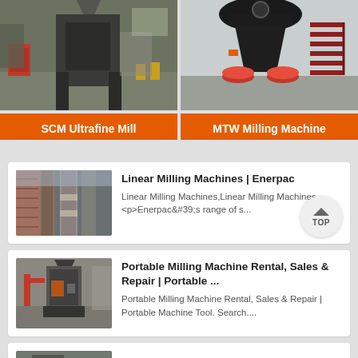[Figure (photo): Industrial milling machine in factory setting - SCM Ultrafine Mill]
SCM Ultrafine Mill
[Figure (photo): Large cone crusher/milling machine in factory - MTW Milling Machine]
MTW Milling Machine
[Figure (photo): Industrial pipes/columns in a facility - Linear Milling Machines thumbnail]
Linear Milling Machines | Enerpac
Linear Milling Machines,Linear Milling Machines. <p>Enerpac&#39;s range of s...
[Figure (photo): Industrial milling machine in a large factory - Portable Milling Machine thumbnail]
Portable Milling Machine Rental, Sales & Repair | Portable ...
Portable Milling Machine Rental, Sales & Repair | Portable Machine Tool. Search....
[Figure (photo): Partial thumbnail of another milling machine entry]